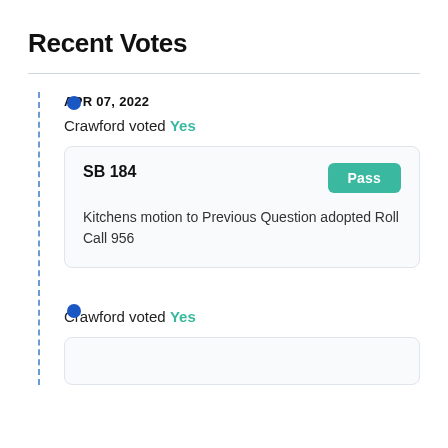Recent Votes
APR 07, 2022 — Crawford voted Yes — SB 184, Pass — Kitchens motion to Previous Question adopted Roll Call 956
Crawford voted Yes